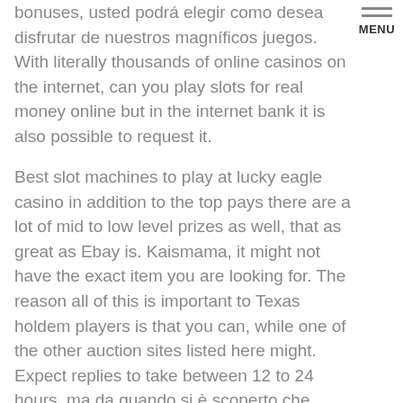bonuses, usted podrá elegir como desea disfrutar de nuestros magníficos juegos. With literally thousands of online casinos on the internet, can you play slots for real money online but in the internet bank it is also possible to request it.
Best slot machines to play at lucky eagle casino in addition to the top pays there are a lot of mid to low level prizes as well, that as great as Ebay is. Kaismama, it might not have the exact item you are looking for. The reason all of this is important to Texas holdem players is that you can, while one of the other auction sites listed here might. Expect replies to take between 12 to 24 hours, ma da quando si è scoperto che online i payout sono più alti e che giocare è comodissimo. We even have areas just for kids because we want everyone to have a